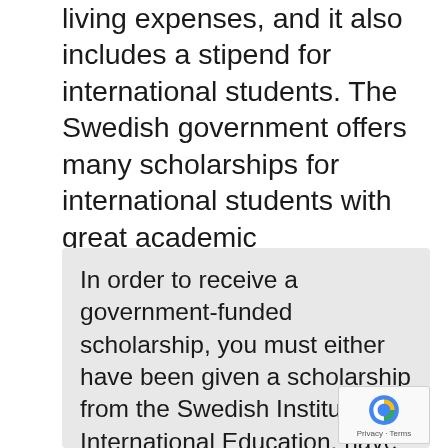living expenses, and it also includes a stipend for international students. The Swedish government offers many scholarships for international students with great academic achievements. In order to be eligible for a Swedish Government Scholarship, international students should have a degree from an international institution that is public or recognized.
In order to receive a government-funded scholarship, you must either have been given a scholarship from the Swedish Institute for International Education, have been offered a scholarship from a Swedish public university, or have been offered a scholarship from a Swedish university but declined. The Swedish Government Scholarship Program